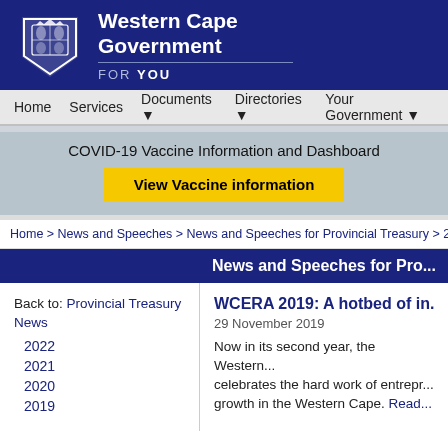[Figure (logo): Western Cape Government shield/crest logo in white on dark blue background, with text 'Western Cape Government FOR YOU']
Home   Services   Documents ▼   Directories ▼   Your Government ▼
COVID-19 Vaccine Information and Dashboard
View Vaccine information
Home > News and Speeches > News and Speeches for Provincial Treasury > 20...
News and Speeches for Pro...
Back to: Provincial Treasury News
2022
2021
2020
2019
WCERA 2019: A hotbed of in...
29 November 2019
Now in its second year, the Western... celebrates the hard work of entrepr... growth in the Western Cape. Read...